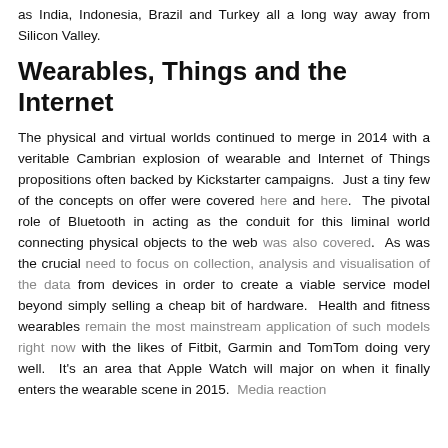as India, Indonesia, Brazil and Turkey all a long way away from Silicon Valley.
Wearables, Things and the Internet
The physical and virtual worlds continued to merge in 2014 with a veritable Cambrian explosion of wearable and Internet of Things propositions often backed by Kickstarter campaigns.  Just a tiny few of the concepts on offer were covered here and here.  The pivotal role of Bluetooth in acting as the conduit for this liminal world connecting physical objects to the web was also covered.  As was the crucial need to focus on collection, analysis and visualisation of the data from devices in order to create a viable service model beyond simply selling a cheap bit of hardware.  Health and fitness wearables remain the most mainstream application of such models right now with the likes of Fitbit, Garmin and TomTom doing very well.  It's an area that Apple Watch will major on when it finally enters the wearable scene in 2015.  Media reaction